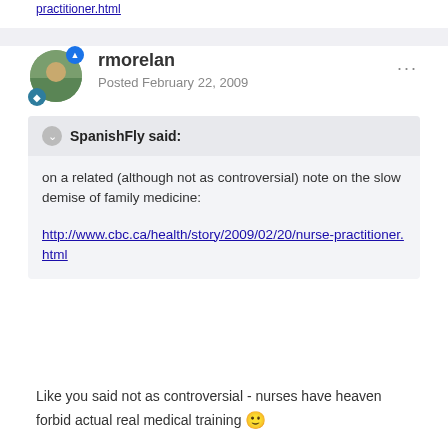practitioner.html
rmorelan
Posted February 22, 2009
SpanishFly said:
on a related (although not as controversial) note on the slow demise of family medicine:

http://www.cbc.ca/health/story/2009/02/20/nurse-practitioner.html
Like you said not as controversial - nurses have heaven forbid actual real medical training 🙂